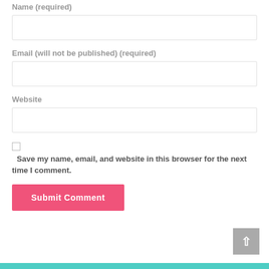Name (required)
[Figure (other): Text input field for Name]
Email (will not be published) (required)
[Figure (other): Text input field for Email]
Website
[Figure (other): Text input field for Website]
Save my name, email, and website in this browser for the next time I comment.
[Figure (other): Submit Comment button (pink/magenta)]
[Figure (other): Back to top button (gray) in bottom right corner]
[Figure (other): Teal footer bar at bottom of page]